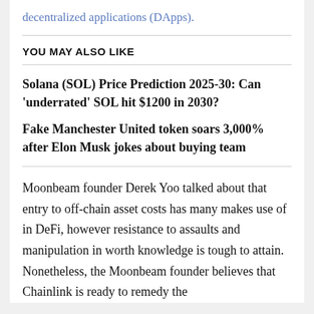decentralized applications (DApps).
YOU MAY ALSO LIKE
Solana (SOL) Price Prediction 2025-30: Can 'underrated' SOL hit $1200 in 2030?
Fake Manchester United token soars 3,000% after Elon Musk jokes about buying team
Moonbeam founder Derek Yoo talked about that entry to off-chain asset costs has many makes use of in DeFi, however resistance to assaults and manipulation in worth knowledge is tough to attain. Nonetheless, the Moonbeam founder believes that Chainlink is ready to remedy the